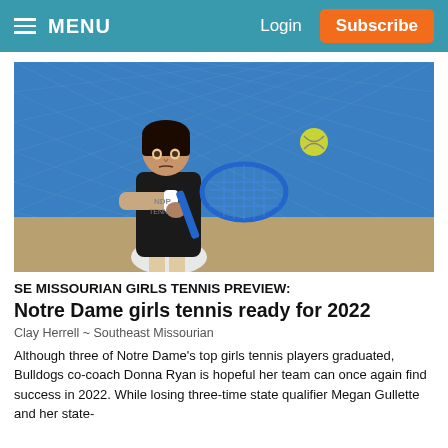MENU  Login  Subscribe
[Figure (photo): A female tennis player in black jersey and white skirt hitting a backhand shot with a blue racket, with a green tennis ball in the air, blue fence/court background]
SE MISSOURIAN GIRLS TENNIS PREVIEW: Notre Dame girls tennis ready for 2022
Clay Herrell ~ Southeast Missourian
Although three of Notre Dame's top girls tennis players graduated, Bulldogs co-coach Donna Ryan is hopeful her team can once again find success in 2022. While losing three-time state qualifier Megan Gullette and her state-